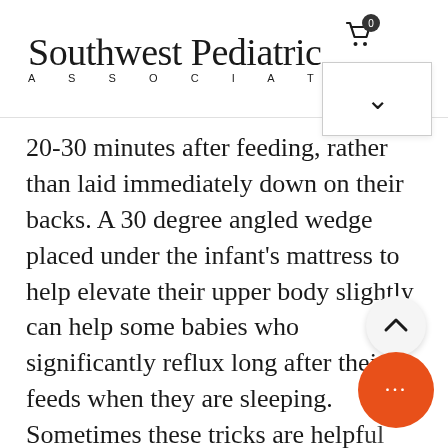Southwest Pediatric ASSOCIATES
20-30 minutes after feeding, rather than laid immediately down on their backs. A 30 degree angled wedge placed under the infant's mattress to help elevate their upper body slightly can help some babies who significantly reflux long after their feeds when they are sleeping. Sometimes these tricks are helpful but do not completely relieve symptoms of reflux. When reflux is this severe it